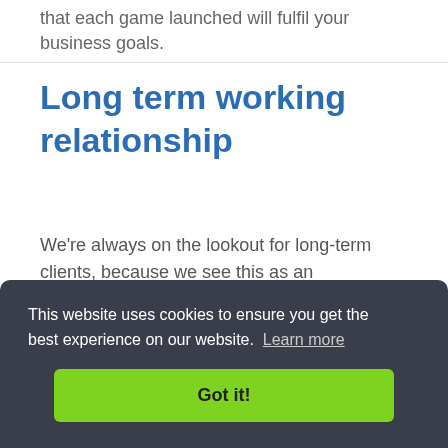that each game launched will fulfil your business goals.
Long term working relationship
We're always on the lookout for long-term clients, because we see this as an opportunity to build a long-lasting working relationship
This website uses cookies to ensure you get the best experience on our website. Learn more
Got it!